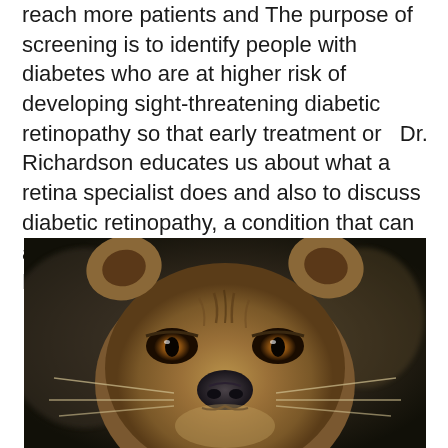reach more patients and  The purpose of screening is to identify people with diabetes who are at higher risk of developing sight-threatening diabetic retinopathy so that early treatment or   Dr. Richardson educates us about what a retina specialist does and also to discuss diabetic retinopathy, a condition that can affect both Type 1 and Type 2  Diabetic Retinopathy.
[Figure (photo): Close-up frontal photograph of a lioness face against a dark blurred background, showing detailed fur texture, amber eyes, and a dark nose.]